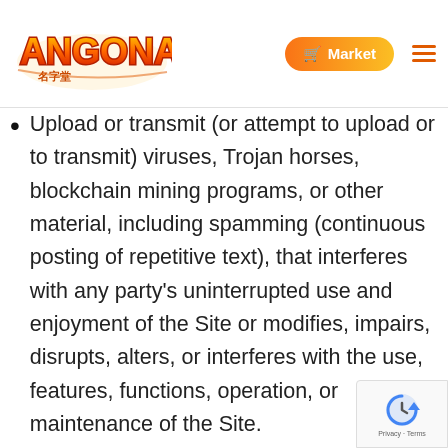Angoname — Market
script, or other code.
Upload or transmit (or attempt to upload or to transmit) viruses, Trojan horses, blockchain mining programs, or other material, including spamming (continuous posting of repetitive text), that interferes with any party's uninterrupted use and enjoyment of the Site or modifies, impairs, disrupts, alters, or interferes with the use, features, functions, operation, or maintenance of the Site.
Upload or transmit (or attempt to upload